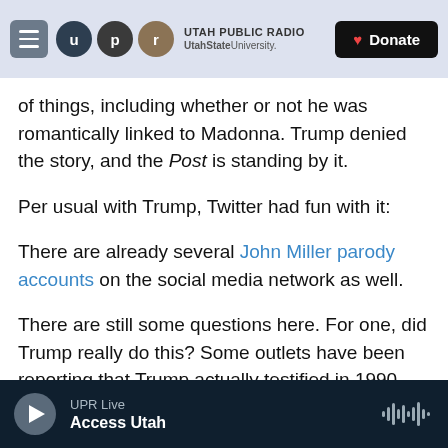Utah Public Radio | UtahState University | Donate
of things, including whether or not he was romantically linked to Madonna. Trump denied the story, and the Post is standing by it.
Per usual with Trump, Twitter had fun with it:
There are already several John Miller parody accounts on the social media network as well.
There are still some questions here. For one, did Trump really do this? Some outlets have been reporting that Trump actually testified in 1990 that he used the fake names before. A Vice article from 2015 has more detail, too.
UPR Live | Access Utah